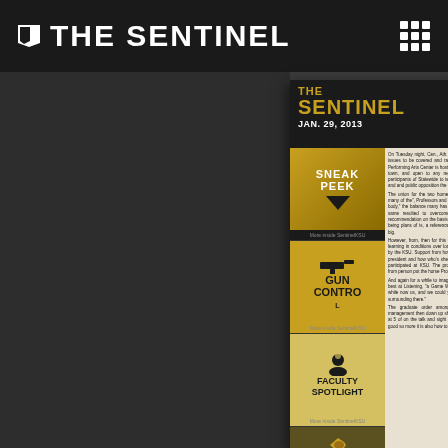THE SENTINEL
[Figure (screenshot): Screenshot of The Sentinel newspaper app showing January 29, 2013 issue with sections: Sneak Peek, Gun Control, Faculty Spotlight, Football. KSU Welcome article visible on right side.]